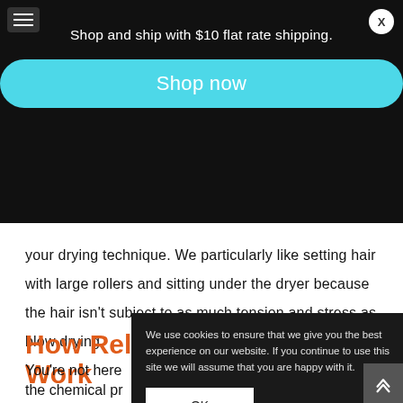[Figure (screenshot): Black promotional banner with hamburger menu icon top-left, X close button top-right, white text 'Shop and ship with $10 flat rate shipping.' and a cyan rounded 'Shop now' button]
your drying technique. We particularly like setting hair with large rollers and sitting under the dryer because the hair isn't subject to as much tension and stress as blow drying.
How Relaxers Work
You're not here to understand the chemical pr... can better unde... forward.
We use cookies to ensure that we give you the best experience on our website. If you continue to use this site we will assume that you are happy with it.